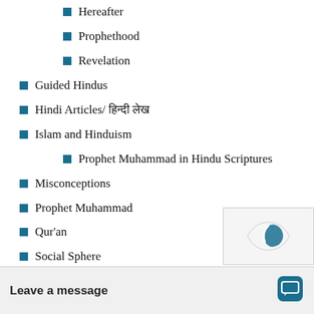Hereafter
Prophethood
Revelation
Guided Hindus
Hindi Articles/ हिन्दी लेख
Islam and Hinduism
Prophet Muhammad in Hindu Scriptures
Misconceptions
Prophet Muhammad
Qur'an
Social Sphere
Caste system
Ethics and V…